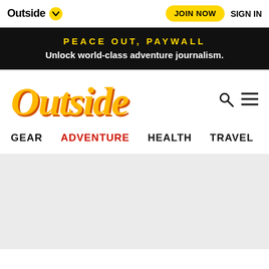Outside | JOIN NOW | SIGN IN
PEACE OUT, PAYWALL
Unlock world-class adventure journalism.
[Figure (logo): Outside magazine main logo in large yellow/orange italic serif font]
GEAR    ADVENTURE    HEALTH    TRAVEL